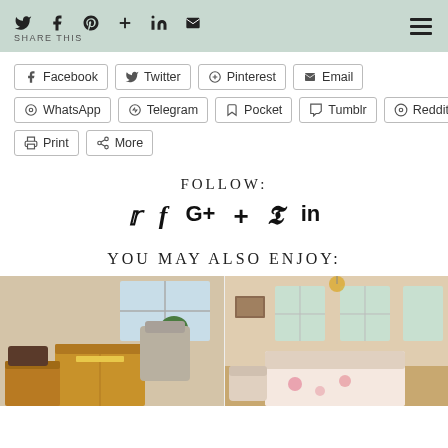SHARE THIS — social share icons bar with Twitter, Facebook, Pinterest, Google+, LinkedIn, Email and hamburger menu
Facebook  Twitter  Pinterest  Email  WhatsApp  Telegram  Pocket  Tumblr  Reddit  Print  More
FOLLOW:
Social follow icons: Twitter, Facebook, Google+, Google+, Pinterest, LinkedIn
YOU MAY ALSO ENJOY:
[Figure (photo): Moving boxes and furniture in a bright room with windows and a plant]
[Figure (photo): Bright bedroom with white walls, windows, a bed with floral bedding, and a chandelier]